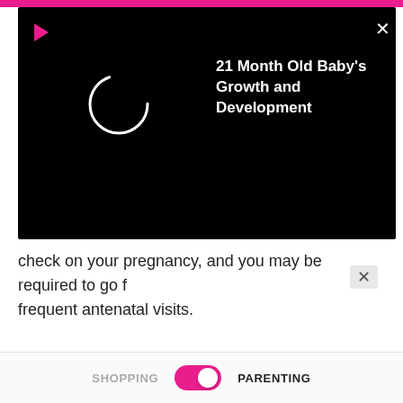[Figure (screenshot): Video overlay panel with black background showing a loading circle, play button icon, close X button, and video title '21 Month Old Baby's Growth and Development' in white text on black background]
check on your pregnancy, and you may be required to go for more frequent antenatal visits.
[Figure (screenshot): Bottom navigation bar with SHOPPING label on left, pink toggle switch in center (toggled right/on), and PARENTING label on right]